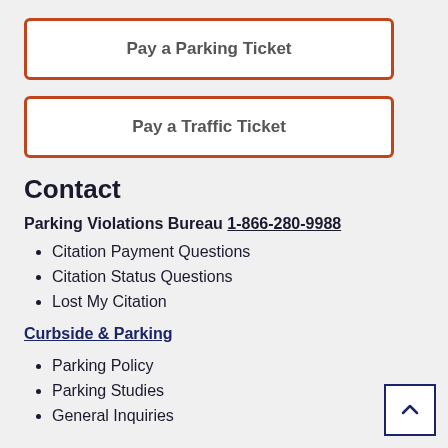Pay a Parking Ticket
Pay a Traffic Ticket
Contact
Parking Violations Bureau 1-866-280-9988
Citation Payment Questions
Citation Status Questions
Lost My Citation
Curbside & Parking
Parking Policy
Parking Studies
General Inquiries